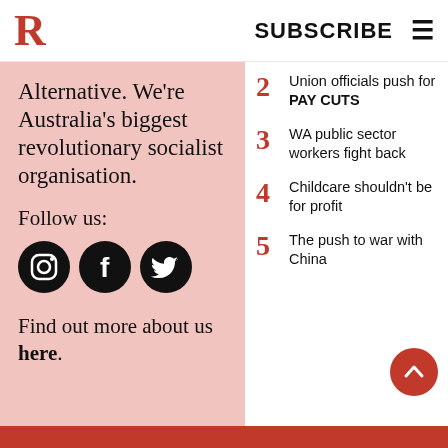R SUBSCRIBE ≡
Alternative. We're Australia's biggest revolutionary socialist organisation.
Follow us:
[Figure (illustration): Three social media icon circles: Instagram, Facebook, Twitter (black circles with white icons)]
Find out more about us here.
2 Union officials push for PAY CUTS
3 WA public sector workers fight back
4 Childcare shouldn't be for profit
5 The push to war with China